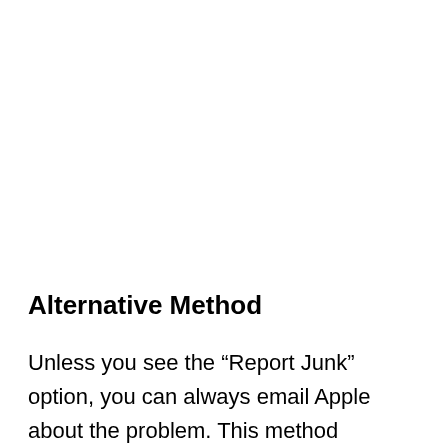Alternative Method
Unless you see the “Report Junk” option, you can always email Apple about the problem. This method requires you to screenshot the message and include the sender’s phone